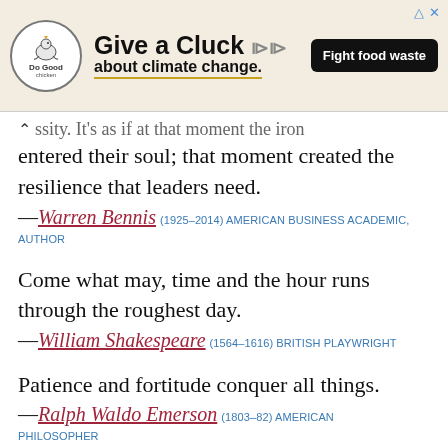[Figure (other): Advertisement banner: 'Give a Cluck about climate change.' with Do Good logo (chicken icon), golden underline, chicken image, and 'Fight food waste' button on dark background.]
...ssity. It's as if at that moment the iron entered their soul; that moment created the resilience that leaders need.
—Warren Bennis (1925–2014) AMERICAN BUSINESS ACADEMIC, AUTHOR
Come what may, time and the hour runs through the roughest day.
—William Shakespeare (1564–1616) BRITISH PLAYWRIGHT
Patience and fortitude conquer all things.
—Ralph Waldo Emerson (1803–82) AMERICAN PHILOSOPHER